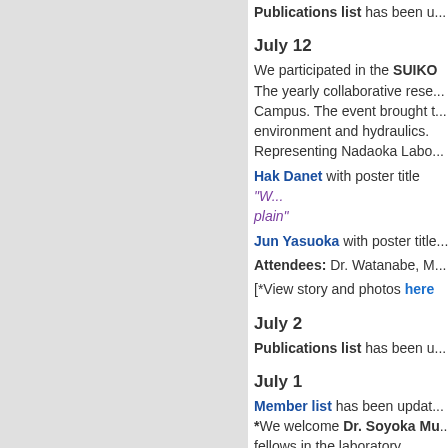Publications list has been u...
July 12
We participated in the SUIKO... The yearly collaborative rese... Campus. The event brought t... environment and hydraulics. Representing Nadaoka Labo...
Hak Danet with poster title "W... plain"
Jun Yasuoka with poster title...
Attendees: Dr. Watanabe, M...
[*View story and photos here
July 2
Publications list has been u...
July 1
Member list has been updat... *We welcome Dr. Soyoka Mu... fellows in the laboratory.
June 17 to 19